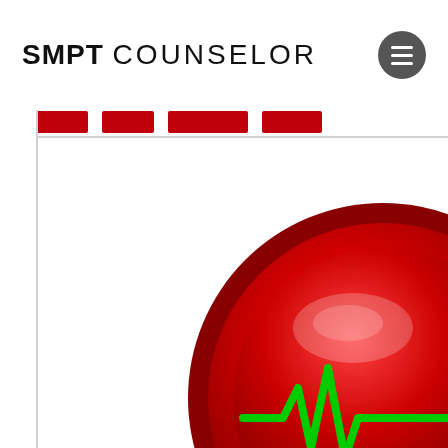SMPT COUNSELOR
[Figure (screenshot): SMPT Counselor website screenshot showing header with logo 'SMPT COUNSELOR' in bold/light text on the left, a dark circular hamburger menu button on the right, a red navigation bar partially visible at top, a vertical left border line, and a large red glossy circular health/heartbeat icon partially visible in the lower right corner with a green ECG/heartbeat line on it.]